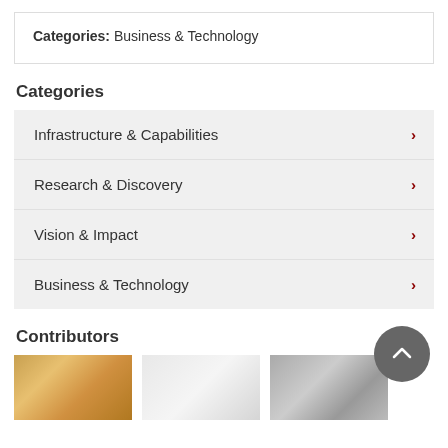Categories: Business & Technology
Categories
Infrastructure & Capabilities
Research & Discovery
Vision & Impact
Business & Technology
Contributors
[Figure (photo): Three contributor profile photos shown in a row at the bottom of the page]